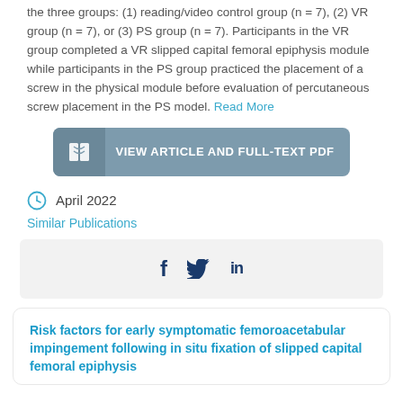the three groups: (1) reading/video control group (n = 7), (2) VR group (n = 7), or (3) PS group (n = 7). Participants in the VR group completed a VR slipped capital femoral epiphysis module while participants in the PS group practiced the placement of a screw in the physical module before evaluation of percutaneous screw placement in the PS model. Read More
[Figure (other): Button: VIEW ARTICLE AND FULL-TEXT PDF with open book icon on left]
April 2022
Similar Publications
[Figure (other): Social media icons: Facebook (f), Twitter (bird), LinkedIn (in)]
Risk factors for early symptomatic femoroacetabular impingement following in situ fixation of slipped capital femoral epiphysis